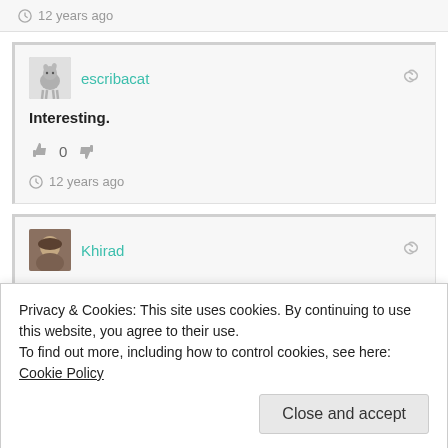12 years ago
escribacat
Interesting.
0
12 years ago
Khirad
Privacy & Cookies: This site uses cookies. By continuing to use this website, you agree to their use.
To find out more, including how to control cookies, see here: Cookie Policy
Close and accept